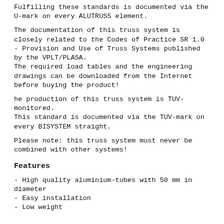Fulfilling these standards is documented via the U-mark on every ALUTRUSS element.
The documentation of this truss system is closely related to the Codes of Practice SR 1.0 - Provision and Use of Truss Systems published by the VPLT/PLASA.
The required load tables and the engineering drawings can be downloaded from the Internet before buying the product!
he production of this truss system is TUV-monitored.
This standard is documented via the TUV-mark on every BISYSTEM straight.
Please note: this truss system must never be combined with other systems!
Features
- High quality aluminium-tubes with 50 mm in diameter
- Easy installation
- Low weight